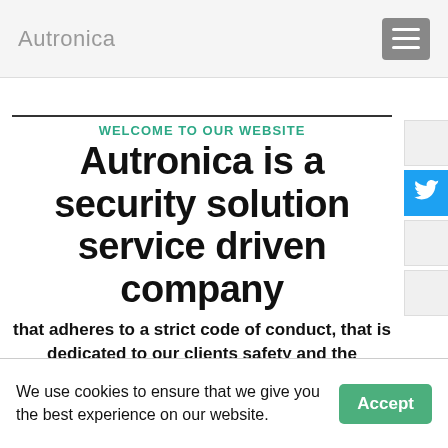Autronica
WELCOME TO OUR WEBSITE
Autronica is a security solution service driven company
that adheres to a strict code of conduct, that is dedicated to our clients safety and the safeguarding of our clients assets.
using the latest security technologies to provide practical, effective solutions for commercial and residential security applications. The company is a privately owned
We use cookies to ensure that we give you the best experience on our website.